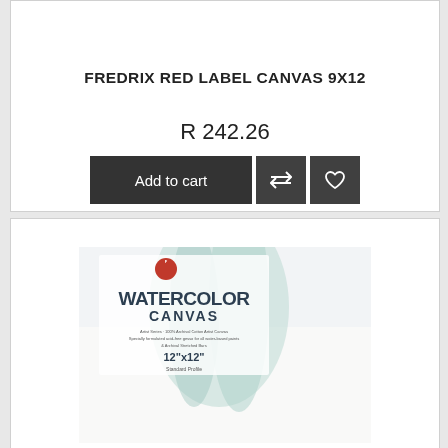FREDRIX RED LABEL CANVAS 9X12
R 242.26
[Figure (screenshot): Add to cart button row with cart, compare, and wishlist icon buttons on dark background]
[Figure (photo): Fredrix Watercolor Canvas product packaging showing a 12x12 inch canvas with watercolor plant imagery, Artist Series 100% Archival Cotton Artist Canvas label]